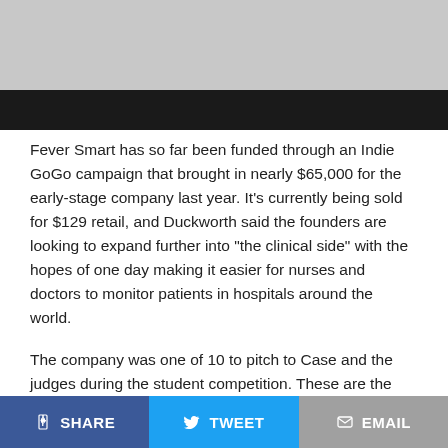[Figure (photo): Partial photo of a person in white clothing, with a black bar/redaction across the lower portion of the image.]
Fever Smart has so far been funded through an Indie GoGo campaign that brought in nearly $65,000 for the early-stage company last year. It’s currently being sold for $129 retail, and Duckworth said the founders are looking to expand further into “the clinical side” with the hopes of one day making it easier for nurses and doctors to monitor patients in hospitals around the world.
The company was one of 10 to pitch to Case and the judges during the student competition. These are the other companies that made appearances during the student pitch competition:
C-Crate Technologies – Students from Penn created a
SHARE   TWEET   EMAIL